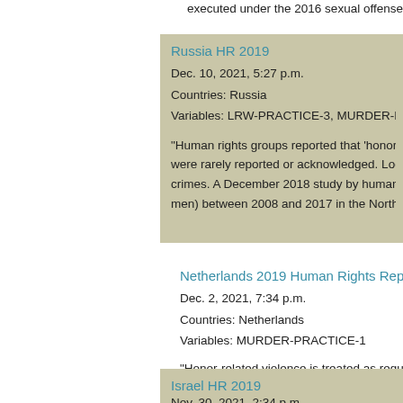executed under the 2016 sexual offense law
Russia HR 2019
Dec. 10, 2021, 5:27 p.m.
Countries: Russia
Variables: LRW-PRACTICE-3, MURDER-PR

"Human rights groups reported that 'honor ki... were rarely reported or acknowledged. Loca... crimes. A December 2018 study by human ri... men) between 2008 and 2017 in the North C...
Netherlands 2019 Human Rights Report
Dec. 2, 2021, 7:34 p.m.
Countries: Netherlands
Variables: MURDER-PRACTICE-1

"Honor-related violence is treated as regular... category. Laws against violence were enforc... specialized shelter" (12). This indicates that...
Israel HR 2019
Nov. 30, 2021, 2:34 p.m.